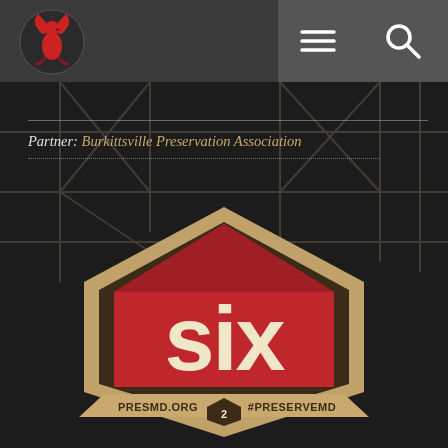[Figure (logo): Phoenix/bird logo in red on dark gray navigation bar]
[Figure (illustration): Hamburger menu icon (three horizontal lines) on gray background]
[Figure (illustration): Search/magnifying glass icon on gray background]
[Figure (photo): Dark background photo of scaffolding/construction structure]
Partner: Burkittsville Preservation Association
[Figure (logo): SIX logo badge - hexagonal shape with red house/barn silhouette, large text 'six' in cream/yellow, banner reading 'PRESMD.ORG 2 #PRESERVEMD']